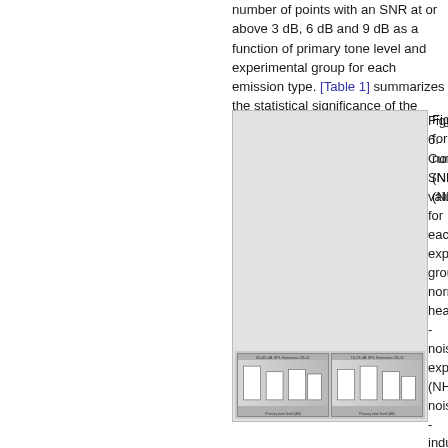number of points with an SNR at or above 3 dB, 6 dB and 9 dB as a function of primary tone level and experimental group for each emission type. [Table 1] summarizes the statistical significance of the differences
[Figure (other): Gray rectangle placeholder for a figure showing cumulative SNR values for each experimental group: normal hearing, noise-exposed (NHNN), and noise-induced hearing loss (NIHL). Small thumbnail charts visible at bottom.]
Figure 6. Cumulative SNR values for each experimental group, normal hearing - noise exposed (NHNN) noise - induced hearing (NIHL). Panels c SNR 2f1 at 1,2